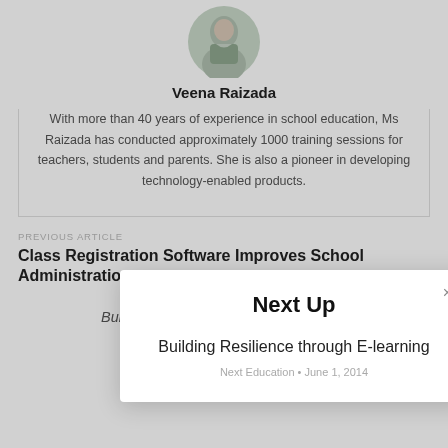[Figure (photo): Circular profile photo of Veena Raizada]
Veena Raizada
With more than 40 years of experience in school education, Ms Raizada has conducted approximately 1000 training sessions for teachers, students and parents. She is also a pioneer in developing technology-enabled products.
PREVIOUS ARTICLE
Class Registration Software Improves School Administration
NEXT ARTICLE
Building Resilience through E-learning
Next Up
Building Resilience through E-learning
Next Education • June 1, 2014